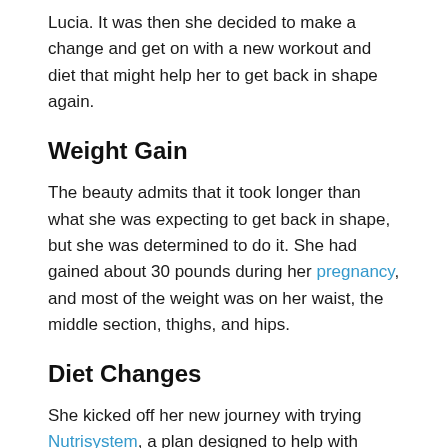Lucia. It was then she decided to make a change and get on with a new workout and diet that might help her to get back in shape again.
Weight Gain
The beauty admits that it took longer than what she was expecting to get back in shape, but she was determined to do it. She had gained about 30 pounds during her pregnancy, and most of the weight was on her waist, the middle section, thighs, and hips.
Diet Changes
She kicked off her new journey with trying Nutrisystem, a plan designed to help with weight loss and boost the overall health of a person. The plan worked for her because it had a